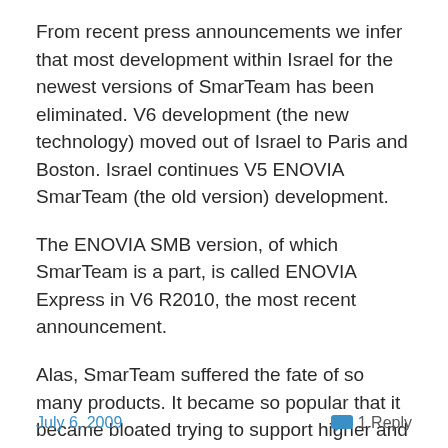From recent press announcements we infer that most development within Israel for the newest versions of SmarTeam has been eliminated. V6 development (the new technology) moved out of Israel to Paris and Boston. Israel continues V5 ENOVIA SmarTeam (the old version) development.
The ENOVIA SMB version, of which SmarTeam is a part, is called ENOVIA Express in V6 R2010, the most recent announcement.
Alas, SmarTeam suffered the fate of so many products. It became so popular that it became bloated trying to support higher and higher end accounts. Its simplicity was lost, and over time its technology became outdated.
July 6, 2009   1 Reply